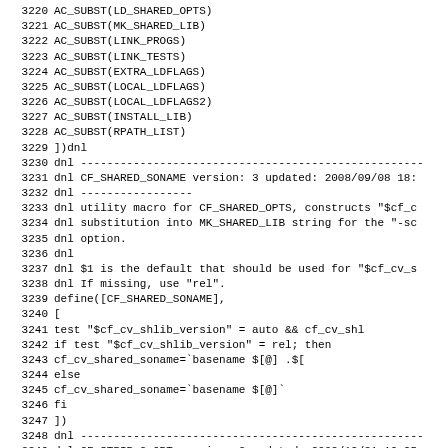Source code listing lines 3220-3251, showing autoconf macros and shell script definitions for CF_SHARED_SONAME and CF_STRIP_G_OPT.